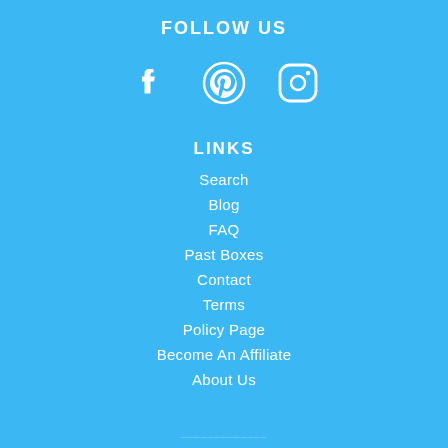FOLLOW US
[Figure (illustration): Three social media icons in white: Facebook (f), Pinterest (P circle), Instagram (camera in rounded square)]
LINKS
Search
Blog
FAQ
Past Boxes
Contact
Terms
Policy Page
Become An Affiliate
About Us